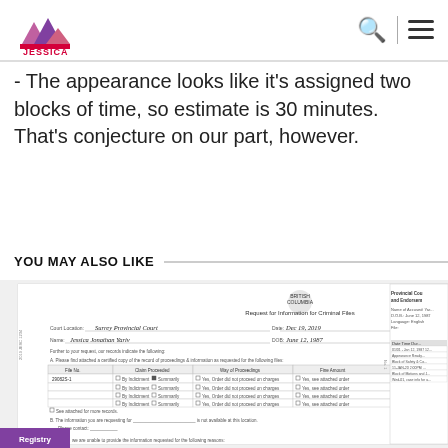JESSICA [logo] [search icon] [menu icon]
- The appearance looks like it's assigned two blocks of time, so estimate is 30 minutes. That's conjecture on our part, however.
YOU MAY ALSO LIKE
[Figure (screenshot): Scanned legal document — 'Request for Information for Criminal Files' from British Columbia Provincial Court, with handwritten entries for Surrey Provincial Court, date Dec 19, 2019, name Jessica Jonathan Yariv, DOB June 12, 1987, and a form table with file number 29082S-1 and checkboxes. Beside it, a partial view of a Provincial Court document showing court scheduling information.]